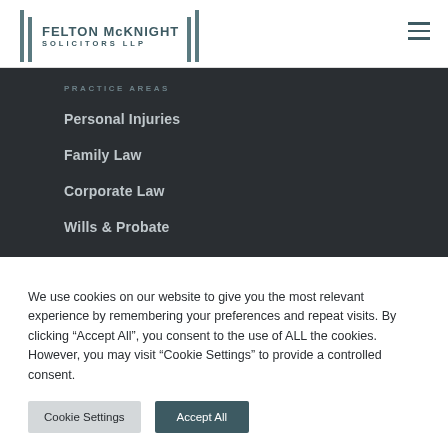[Figure (logo): Felton McKnight Solicitors LLP logo with two pillar column marks flanking the firm name]
PRACTICE AREAS
Personal Injuries
Family Law
Corporate Law
Wills & Probate
We use cookies on our website to give you the most relevant experience by remembering your preferences and repeat visits. By clicking "Accept All", you consent to the use of ALL the cookies. However, you may visit "Cookie Settings" to provide a controlled consent.
Cookie Settings | Accept All